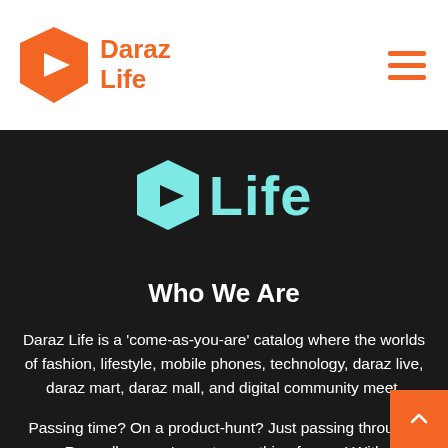[Figure (logo): Daraz Life logo with orange hexagon/play-button icon and orange text 'Daraz Life']
[Figure (logo): Partial Daraz Life logo in cyan/teal color with white text 'Life' on dark background]
Who We Are
Daraz Life is a ‘come-as-you-are’ catalog where the worlds of fashion, lifestyle, mobile phones, technology, daraz live, daraz mart, daraz mall, and digital community meet.
Passing time? On a product-hunt? Just passing through? Regardless, we’ve got something for you! With Daraz.com.bd online shopping in Bangladesh has never been so easy.